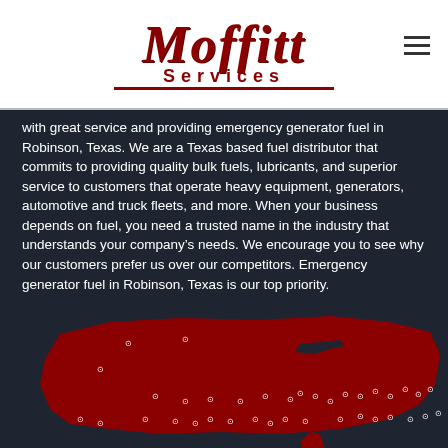[Figure (logo): Moffitt Services logo with red serif italic text and red underline]
with great service and providing emergency generator fuel in Robinson, Texas. We are a Texas based fuel distributor that commits to providing quality bulk fuels, lubricants, and superior service to customers that operate heavy equipment, generators, automotive and truck fleets, and more. When your business depends on fuel, you need a trusted name in the industry that understands your company's needs. We encourage you to see why our customers prefer us over our competitors. Emergency generator fuel in Robinson, Texas is our top priority.
[Figure (map): Map of the United States shaded in dark red with white location pin markers scattered across various states, shown on a dark background]